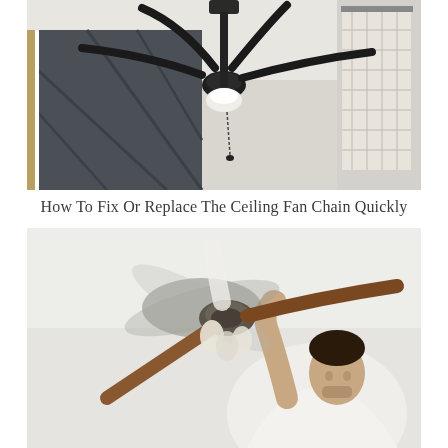[Figure (photo): A dark bronze ceiling fan with 4 blades mounted on a white ceiling in a modern room. The fan has a white frosted glass light kit and a pull chain hanging down. Background shows a dark grey geometric accent wall panel and a window with white curtains on the right.]
How To Fix Or Replace The Ceiling Fan Chain Quickly
[Figure (photo): A man wearing a white shirt looking up and reaching to repair or install a large 5-blade ceiling fan. The fan blades are wooden/brown colored and the fan motor housing appears ornate/decorative. The photo is taken from below at an angle giving a dynamic perspective. The background is a light grey/white wall.]